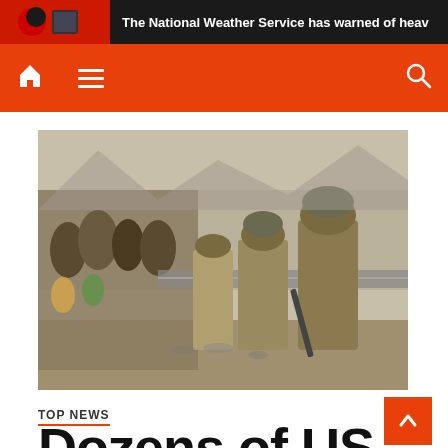The National Weather Service has warned of heav
[Figure (photo): Soldiers in desert camouflage gear with weapons and helmets stand guard at a checkpoint with razor wire barriers, while crowds of civilians including children press against the barrier on the left side.]
TOP NEWS
Dozens of US